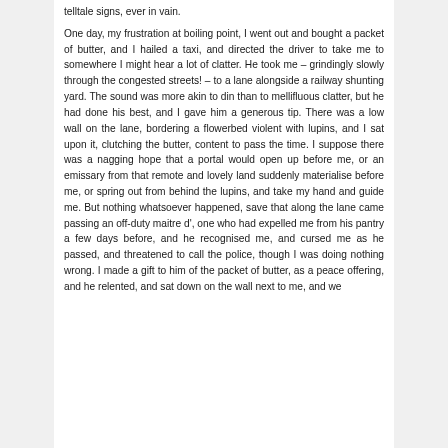telltale signs, ever in vain.

One day, my frustration at boiling point, I went out and bought a packet of butter, and I hailed a taxi, and directed the driver to take me to somewhere I might hear a lot of clatter. He took me – grindingly slowly through the congested streets! – to a lane alongside a railway shunting yard. The sound was more akin to din than to mellifluous clatter, but he had done his best, and I gave him a generous tip. There was a low wall on the lane, bordering a flowerbed violent with lupins, and I sat upon it, clutching the butter, content to pass the time. I suppose there was a nagging hope that a portal would open up before me, or an emissary from that remote and lovely land suddenly materialise before me, or spring out from behind the lupins, and take my hand and guide me. But nothing whatsoever happened, save that along the lane came passing an off-duty maitre d', one who had expelled me from his pantry a few days before, and he recognised me, and cursed me as he passed, and threatened to call the police, though I was doing nothing wrong. I made a gift to him of the packet of butter, as a peace offering, and he relented, and sat down on the wall next to me, and we